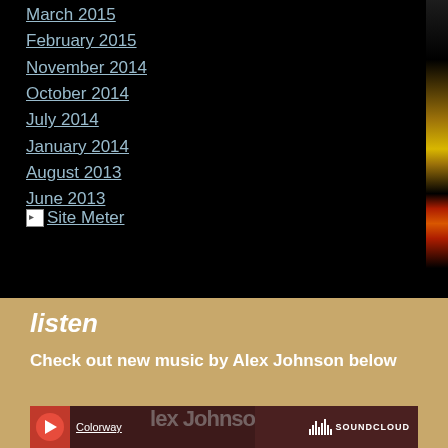March 2015
February 2015
November 2014
October 2014
July 2014
January 2014
August 2013
June 2013
[Figure (other): Site Meter icon (broken image) followed by 'Site Meter' link text]
listen
Check out new music by Alex Johnson below
[Figure (screenshot): SoundCloud embedded player showing Colorway by Alex Johnson]